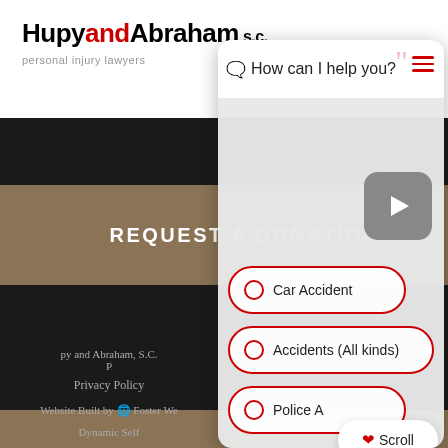[Figure (screenshot): Hupy and Abraham law firm website screenshot with chat overlay showing 'How can I help you?' and options: Car Accident, Accidents (All kinds), Police A[ccident]]
Hupy and Abraham s.c. personal injury lawyers
REQUEST A DONATION
CAREERS
How can I help you?
Car Accident
Accidents (All kinds)
Police A[ccident]
py and Abraham, S.C. P
Privacy Policy
Website Built by 🌐 Foster We[b]
Dynamic Self [Renew...]
Scroll